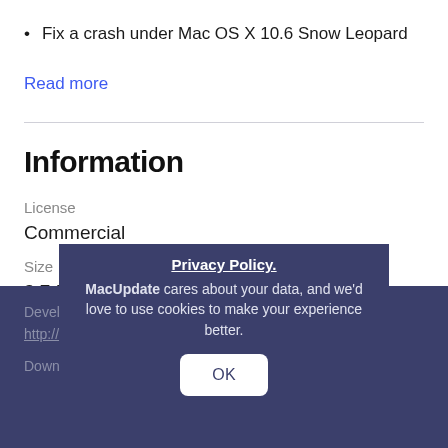Fix a crash under Mac OS X 10.6 Snow Leopard
Read more
Information
License
Commercial
Size
3.7 MB
Developers website
http://web.mac.com/...
Downloads
Privacy Policy.
MacUpdate cares about your data, and we'd love to use cookies to make your experience better.
OK